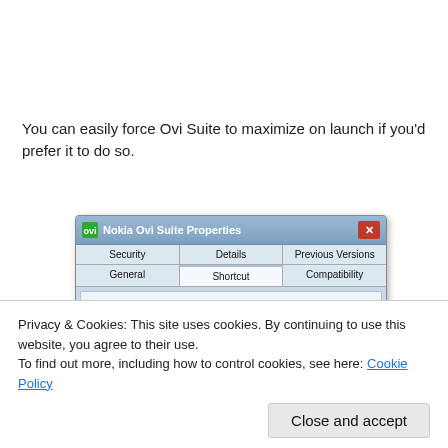You can easily force Ovi Suite to maximize on launch if you'd prefer it to do so.
[Figure (screenshot): Windows dialog box titled 'Nokia Ovi Suite Properties' showing tabs: Security, Details, Previous Versions, General, Shortcut (active), Compatibility. Body shows Nokia Ovi Suite icon and label. Footer shows Run: Maximized dropdown.]
Privacy & Cookies: This site uses cookies. By continuing to use this website, you agree to their use.
To find out more, including how to control cookies, see here: Cookie Policy
Close and accept